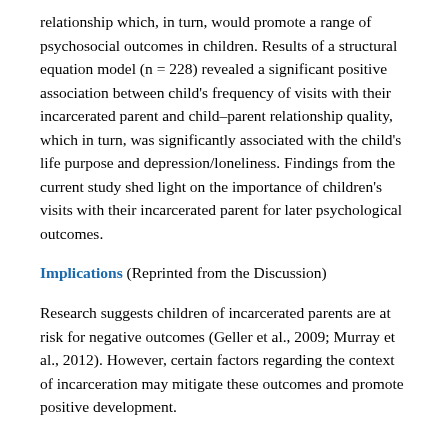relationship which, in turn, would promote a range of psychosocial outcomes in children. Results of a structural equation model (n = 228) revealed a significant positive association between child's frequency of visits with their incarcerated parent and child–parent relationship quality, which in turn, was significantly associated with the child's life purpose and depression/loneliness. Findings from the current study shed light on the importance of children's visits with their incarcerated parent for later psychological outcomes.
Implications (Reprinted from the Discussion)
Research suggests children of incarcerated parents are at risk for negative outcomes (Geller et al., 2009; Murray et al., 2012). However, certain factors regarding the context of incarceration may mitigate these outcomes and promote positive development.